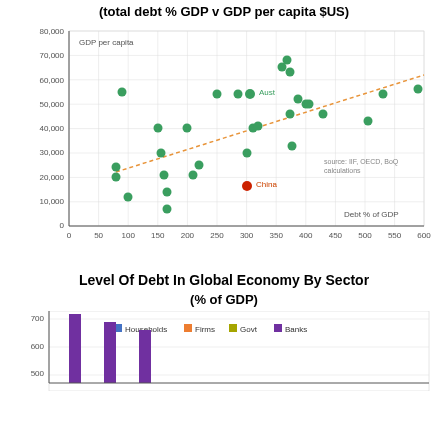(total debt % GDP v GDP per capita $US)
[Figure (continuous-plot): Scatter plot showing total debt % GDP on x-axis (0-600) vs GDP per capita $US on y-axis (0-80,000). Green dots represent countries. Australia (Aust) labeled near (305, 54000) in teal. China labeled near (300, 16500) in red. A dashed orange trend line runs from bottom-left to upper-right. Source: IIF, OECD, BoQ calculations.]
Level Of Debt In Global Economy By Sector
(% of GDP)
[Figure (grouped-bar-chart): Grouped bar chart partially visible showing Level of Debt in Global Economy by Sector (% of GDP). Legend shows: Households (blue), Firms (red), Govt (olive/green), Banks (purple). Y-axis shows values up to 700, with bars visible around 670 and 590 and 520. Chart is cut off at bottom of page.]